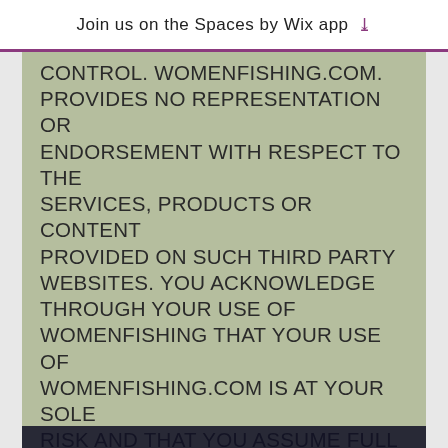Join us on the Spaces by Wix app ↓
CONTROL. WOMENFISHING.COM. PROVIDES NO REPRESENTATION OR ENDORSEMENT WITH RESPECT TO THE SERVICES, PRODUCTS OR CONTENT PROVIDED ON SUCH THIRD PARTY WEBSITES. YOU ACKNOWLEDGE THROUGH YOUR USE OF WOMENFISHING THAT YOUR USE OF WOMENFISHING.COM IS AT YOUR SOLE RISK AND THAT YOU ASSUME FULL RESPONSIBILITY FOR ALL COSTS YOU INCUR AS A RESULT OF USING WOMENFISHING.COM, INCLUDING COSTS ASSOCIATED WITH REPAIRS OF EQUIPMENT AND/OR LOSS OF DATA IN CONNECTION WITH YOUR USE OF womenfishing.COM. YOU FURTHER ACKNOWLEDGE THAT IN NO EVENT WILL WOMENFISHING.COM OR ANY OF ITS RESPECTIVE DIRECTORS, EMPLOYEES OR OTHER REPRESENTATIVES OR ANY